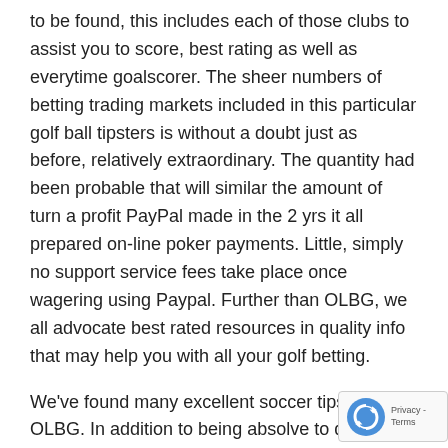to be found, this includes each of those clubs to assist you to score, best rating as well as everytime goalscorer. The sheer numbers of betting trading markets included in this particular golf ball tipsters is without a doubt just as before, relatively extraordinary. The quantity had been probable that will similar the amount of turn a profit PayPal made in the 2 yrs it all prepared on-line poker payments. Little, simply no support service fees take place once wagering using Paypal. Further than OLBG, we all advocate best rated resources in quality info that may help you with all your golf betting.
We've found many excellent soccer tipsters at OLBG. In addition to being absolve to do business with and even supplying seriously swift transaction, PayPal may well be used to be able to earn added prices located at the majority PayPal established card-playing sites. As you